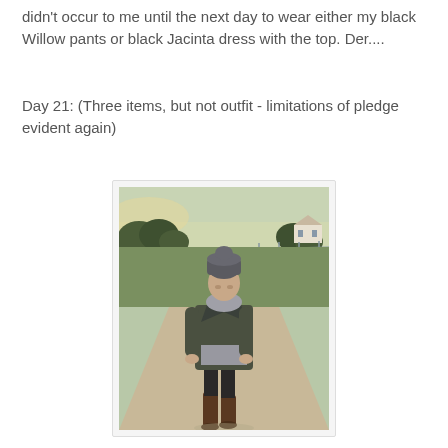didn't occur to me until the next day to wear either my black Willow pants or black Jacinta dress with the top. Der....
Day 21: (Three items, but not outfit - limitations of pledge evident again)
[Figure (photo): Woman standing outdoors on a gravel path wearing dark jacket, grey knit sweater, black pants, and brown knee-high boots, with a grey beanie hat. Rural landscape with green fields, trees, and a house in the background.]